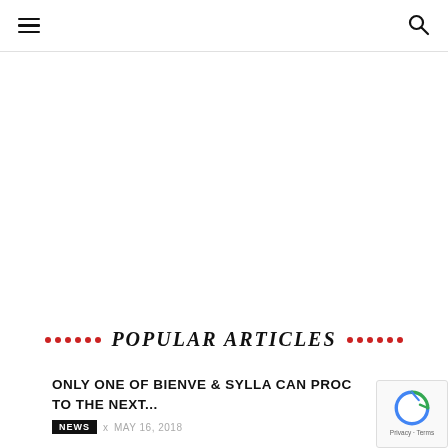Navigation menu and search icon
POPULAR ARTICLES
ONLY ONE OF BIENVE & SYLLA CAN PROC TO THE NEXT...
NEWS · MAY 16, 2018